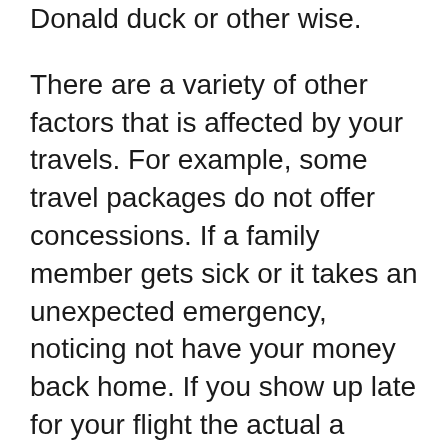Donald duck or other wise.
There are a variety of other factors that is affected by your travels. For example, some travel packages do not offer concessions. If a family member gets sick or it takes an unexpected emergency, noticing not have your money back home. If you show up late for your flight the actual a delay at airport security, your ticket could not be privileged.
But select a date first, because those two are tied together. Make a list of all vacation destinations you need to visit. Than go online and search and look travel review. It’s also a good idea to create a different folder for each destination which means you will be able to keep all of the materials there for